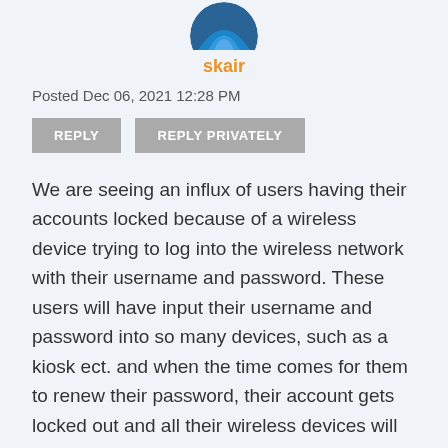[Figure (photo): Partial avatar/profile picture of user skair, showing bottom portion of a circular blue icon]
skair
Posted Dec 06, 2021 12:28 PM
REPLY   REPLY PRIVATELY
We are seeing an influx of users having their accounts locked because of a wireless device trying to log into the wireless network with their username and password. These users will have input their username and password into so many devices, such as a kiosk ect. and when the time comes for them to renew their password, their account gets locked out and all their wireless devices will get locked out from connecting to the